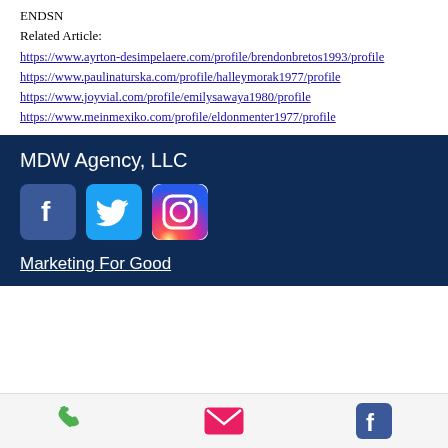ENDSN
Related Article:
https://www.ayrton-desimpelaere.com/profile/brendonbretos1993/profile https://www.paulinaturska.com/profile/halleymorak1977/profile https://www.joyvial.com/profile/emilysawaya1980/profile https://www.meinmexiko.com/profile/eldonmenter1977/profile
[Figure (infographic): Dark blue footer section with MDW Agency LLC text, Facebook, Twitter, and Instagram social media icons, and a Marketing For Good underlined link]
[Figure (infographic): Bottom navigation bar with phone, email, and Facebook icons on a light gray background]